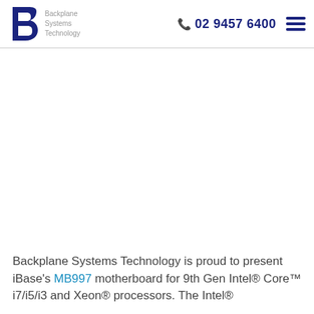Backplane Systems Technology | 02 9457 6400
[Figure (photo): Product image area (white/blank space where a motherboard photo would appear)]
Backplane Systems Technology is proud to present iBase's MB997 motherboard for 9th Gen Intel® Core™ i7/i5/i3 and Xeon® processors. The Intel®